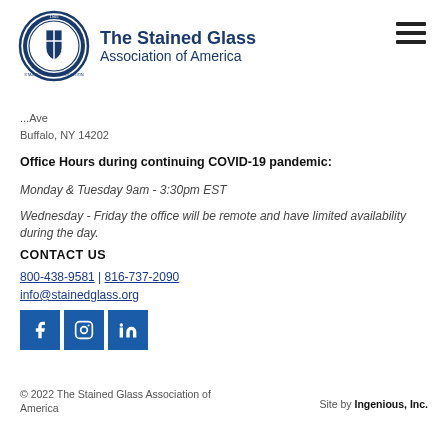[Figure (logo): Circular seal/logo of the Stained Glass Association of America with a crest design]
The Stained Glass Association of America
[Figure (other): Hamburger menu icon (three horizontal lines)]
...Ave
Buffalo, NY 14202
Office Hours during continuing COVID-19 pandemic:
Monday & Tuesday 9am - 3:30pm EST
Wednesday - Friday the office will be remote and have limited availability during the day.
CONTACT US
800-438-9581 | 816-737-2090
info@stainedglass.org
[Figure (other): Social media icons: Facebook, Instagram, LinkedIn — blue square buttons]
© 2022 The Stained Glass Association of America
Site by Ingenious, Inc.